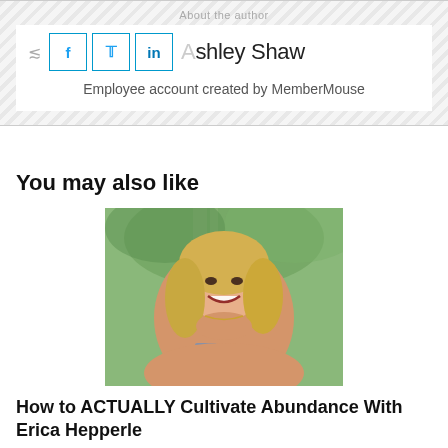About the author
Ashley Shaw
Employee account created by MemberMouse
You may also like
[Figure (photo): Portrait of a smiling blonde woman outdoors with trees in background, resting chin on hand.]
How to ACTUALLY Cultivate Abundance With Erica Hepperle